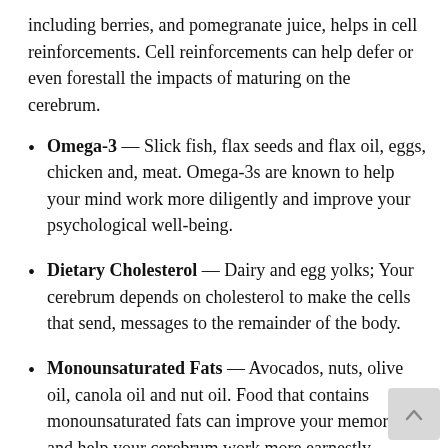including berries, and pomegranate juice, helps in cell reinforcements. Cell reinforcements can help defer or even forestall the impacts of maturing on the cerebrum.
Omega-3 — Slick fish, flax seeds and flax oil, eggs, chicken and, meat. Omega-3s are known to help your mind work more diligently and improve your psychological well-being.
Dietary Cholesterol — Dairy and egg yolks; Your cerebrum depends on cholesterol to make the cells that send, messages to the remainder of the body.
Monounsaturated Fats — Avocados, nuts, olive oil, canola oil and nut oil. Food that contains monounsaturated fats can improve your memory and help your cerebrum work more earnestly, better, quicker, more grounded.